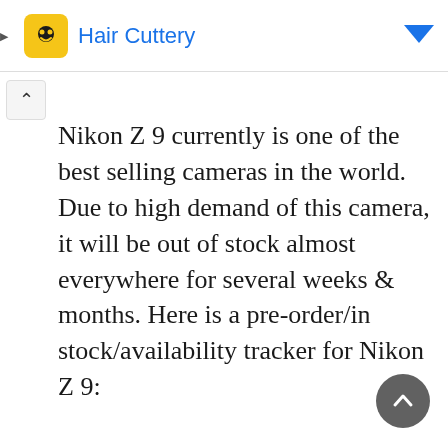Hair Cuttery
Nikon Z 9 currently is one of the best selling cameras in the world. Due to high demand of this camera, it will be out of stock almost everywhere for several weeks & months. Here is a pre-order/in stock/availability tracker for Nikon Z 9:
Read More »